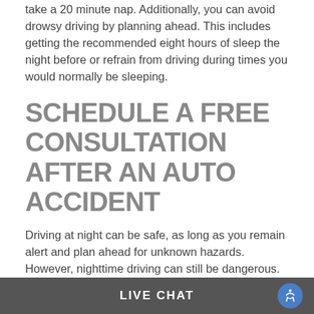if you feel tired while driving at night, pull over and find a safe location to take a 20 minute nap. Additionally, you can avoid drowsy driving by planning ahead. This includes getting the recommended eight hours of sleep the night before or refrain from driving during times you would normally be sleeping.
SCHEDULE A FREE CONSULTATION AFTER AN AUTO ACCIDENT
Driving at night can be safe, as long as you remain alert and plan ahead for unknown hazards. However, nighttime driving can still be dangerous. If you were injured in an accident caused by another's negligence, contact Lynch Law Firm today.
We will provide you with a free, no obligation consultation to review your claim and inform you of your legal options to pursue compensation. All of
LIVE CHAT